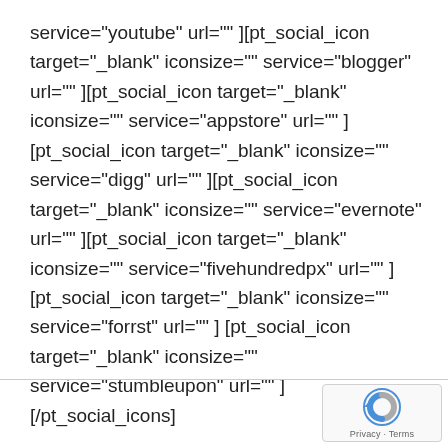service="youtube" url="" ][pt_social_icon target="_blank" iconsize="" service="blogger" url="" ][pt_social_icon target="_blank" iconsize="" service="appstore" url="" ] [pt_social_icon target="_blank" iconsize="" service="digg" url="" ][pt_social_icon target="_blank" iconsize="" service="evernote" url="" ][pt_social_icon target="_blank" iconsize="" service="fivehundredpx" url="" ][pt_social_icon target="_blank" iconsize="" service="forrst" url="" ] [pt_social_icon target="_blank" iconsize="" service="stumbleupon" url="" ][/pt_social_icons]
[Figure (logo): reCAPTCHA logo with Privacy - Terms label]